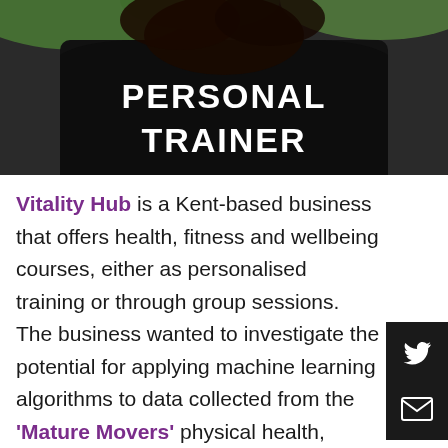[Figure (photo): Photo of a person wearing a black shirt with 'PERSONAL TRAINER' text printed on the back in white letters]
Vitality Hub is a Kent-based business that offers health, fitness and wellbeing courses, either as personalised training or through group sessions. The business wanted to investigate the potential for applying machine learning algorithms to data collected from the 'Mature Movers' physical health, exercise and wellbeing programme.
[Figure (other): Social media sidebar with Twitter bird icon and email envelope icon on dark background]